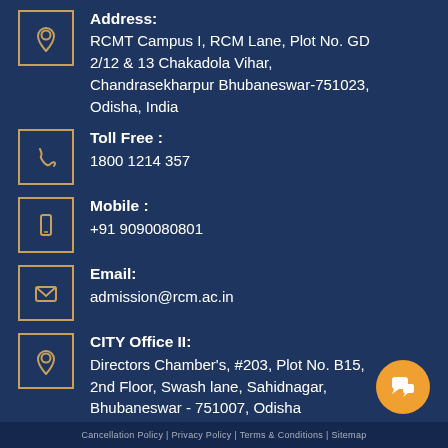Address: RCMT Campus I, RCM Lane, Plot No. GD 2/12 & 13 Chakadola Vihar, Chandrasekharpur Bhubaneswar-751023, Odisha, India
Toll Free : 1800 1214 357
Mobile : +91 9090080801
Email: admission@rcm.ac.in
CITY Office II: Directors Chamber's, #203, Plot No. B15, 2nd Floor, Swash lane, Sahidnagar, Bhubaneswar - 751007, Odisha
Cancellation Policy | Privacy Policy | Terms & Conditions | Sitemap